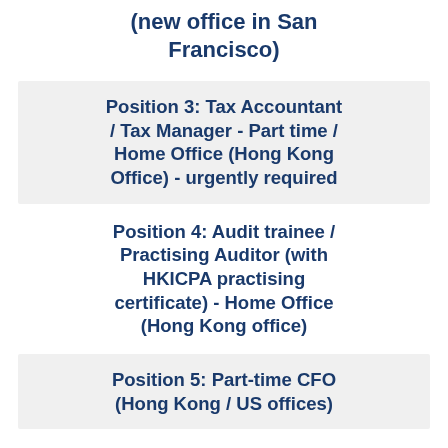(new office in San Francisco)
Position 3: Tax Accountant / Tax Manager - Part time / Home Office (Hong Kong Office) - urgently required
Position 4: Audit trainee / Practising Auditor (with HKICPA practising certificate) - Home Office (Hong Kong office)
Position 5: Part-time CFO (Hong Kong / US offices)